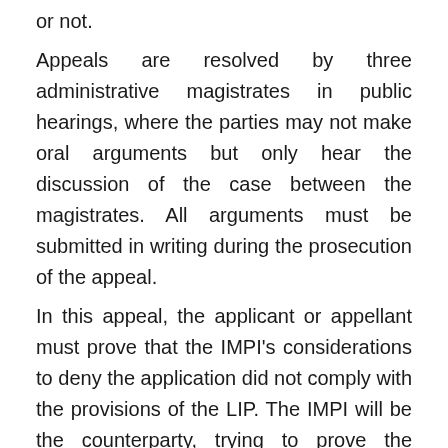or not.
Appeals are resolved by three administrative magistrates in public hearings, where the parties may not make oral arguments but only hear the discussion of the case between the magistrates. All arguments must be submitted in writing during the prosecution of the appeal.
In this appeal, the applicant or appellant must prove that the IMPI's considerations to deny the application did not comply with the provisions of the LIP. The IMPI will be the counterparty, trying to prove the legality of its denial.
The losing party can make a final appeal before a federal circuit court, against the decision of the